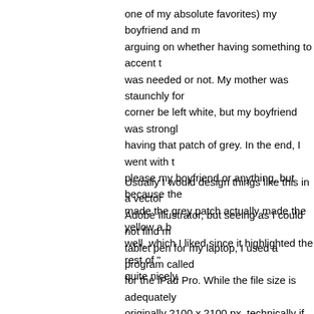one of my absolute favorites) my boyfriend and m arguing on whether having something to accent t was needed or not. My mother was staunchly for corner be left white, but my boyfriend was strongl having that patch of grey. In the end, I went with t please my boyfriend or anything, but because the made the grey patch actually made the yellow a b well, which I liked since it highlighted the rest of " quite nicely.
Usually I would design things like this in a vector Adobe Illustrator, but seeing as I could not find m tablet pen for my laptop, I used a program called for the iPad Pro. While the file size is adequately originally 2100 x 2100 px, technically if something more of a flexible image in terms of sharpness for requirements, a vector would be better. But, seein going to be on any large posters or anything, I fig would be more than suitable for my needs for sur actually quite nice to take a break from editing au being that I do find graphic design like this to be v indeed. Picking up the Apple Pencil to do this put creative mindset, no doubt about it.